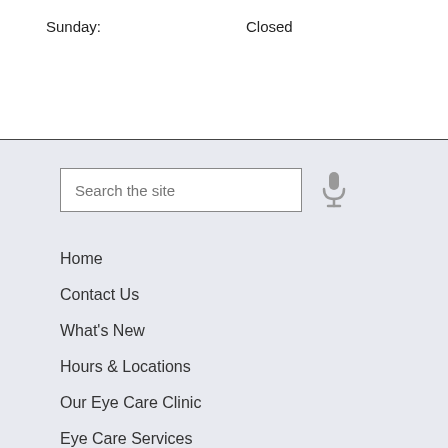Sunday: Closed
Home
Contact Us
What's New
Hours & Locations
Our Eye Care Clinic
Eye Care Services
Insurance